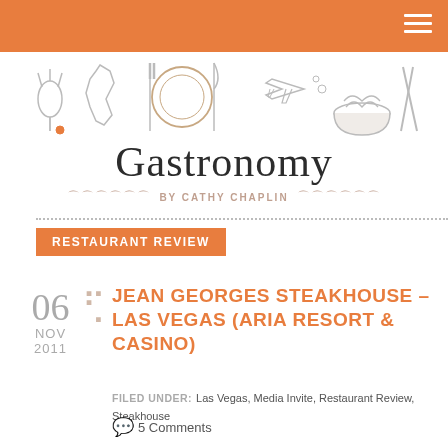Gastronomy by Cathy Chaplin
Gastronomy
BY CATHY CHAPLIN
RESTAURANT REVIEW
JEAN GEORGES STEAKHOUSE – LAS VEGAS (ARIA RESORT & CASINO)
FILED UNDER: Las Vegas, Media Invite, Restaurant Review, Steakhouse
5 Comments
06 NOV 2011